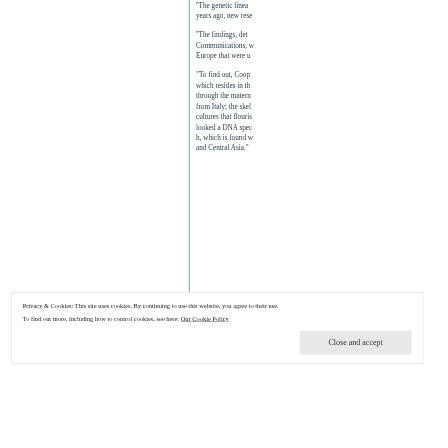''The genetic linea years ago, new rese
''The findings, deta Communications, w Europe that were u
"To find out, Coop which resides in th through the matern from Italy; the skel cultures that flouris looked a DNA spec h, which is found w and Central Asia."
Privacy & Cookies: This site uses cookies. By continuing to use this website, you agree to their use.
To find out more, including how to control cookies, see here: Our Cookie Policy
Close and accept